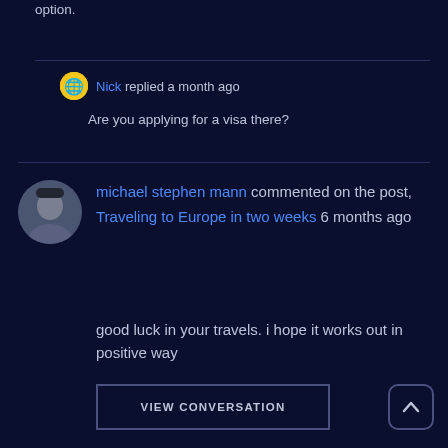option.
Nick replied a month ago
Are you applying for a visa there?
michael stephen mann commented on the post, Traveling to Europe in two weeks 6 months ago
good luck in your travels. i hope it works out in positive way
VIEW CONVERSATION